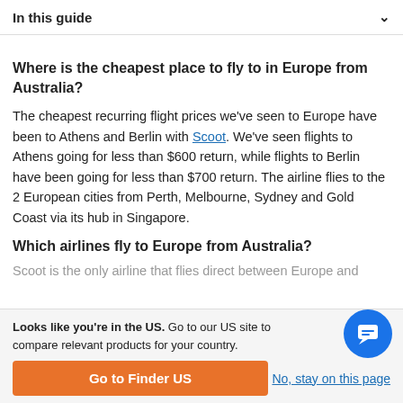In this guide
Where is the cheapest place to fly to in Europe from Australia?
The cheapest recurring flight prices we've seen to Europe have been to Athens and Berlin with Scoot. We've seen flights to Athens going for less than $600 return, while flights to Berlin have been going for less than $700 return. The airline flies to the 2 European cities from Perth, Melbourne, Sydney and Gold Coast via its hub in Singapore.
Which airlines fly to Europe from Australia?
Scoot is the only airline that flies direct between Europe and...
Looks like you're in the US. Go to our US site to compare relevant products for your country.